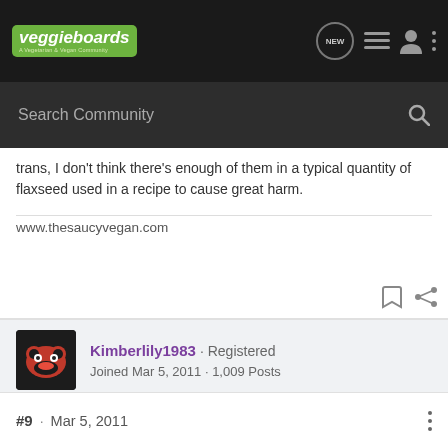veggieboards - A Vegetarian & Vegan Community
Search Community
trans, I don't think there's enough of them in a typical quantity of flaxseed used in a recipe to cause great harm.
www.thesaucyvegan.com
Kimberlily1983 · Registered
Joined Mar 5, 2011 · 1,009 Posts
#9 · Mar 5, 2011